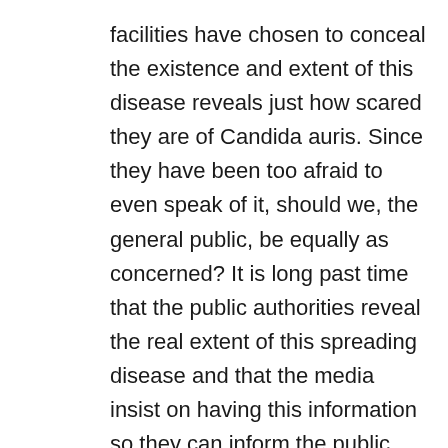facilities have chosen to conceal the existence and extent of this disease reveals just how scared they are of Candida auris. Since they have been too afraid to even speak of it, should we, the general public, be equally as concerned? It is long past time that the public authorities reveal the real extent of this spreading disease and that the media insist on having this information so they can inform the public.
My thanks to a reader for tipping me off to this story.
1.
https://www.nytimes.com/2019/04/06/health/d